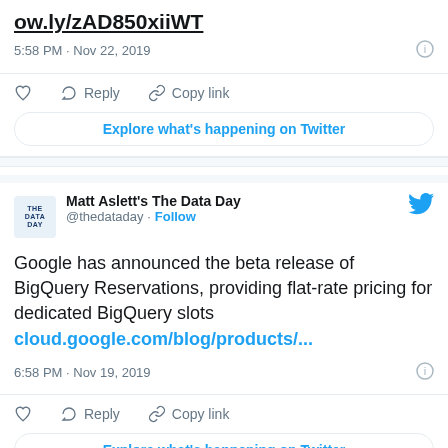ow.ly/zAD850xiiWT
5:58 PM · Nov 22, 2019
Reply  Copy link
Explore what's happening on Twitter
Matt Aslett's The Data Day @thedataday · Follow
Google has announced the beta release of BigQuery Reservations, providing flat-rate pricing for dedicated BigQuery slots cloud.google.com/blog/products/...
6:58 PM · Nov 19, 2019
Reply  Copy link
Explore what's happening on Twitter